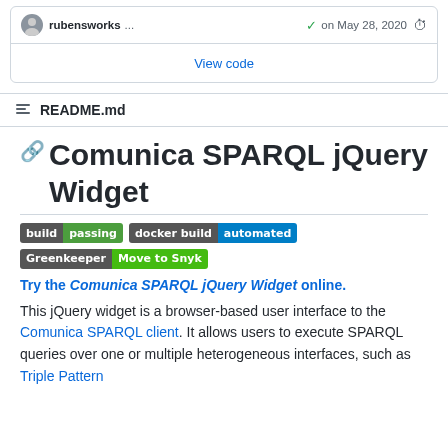rubensworks ... on May 28, 2020
View code
README.md
Comunica SPARQL jQuery Widget
[Figure (other): CI badges: build passing, docker build automated, Greenkeeper Move to Snyk]
Try the Comunica SPARQL jQuery Widget online.
This jQuery widget is a browser-based user interface to the Comunica SPARQL client. It allows users to execute SPARQL queries over one or multiple heterogeneous interfaces, such as Triple Pattern